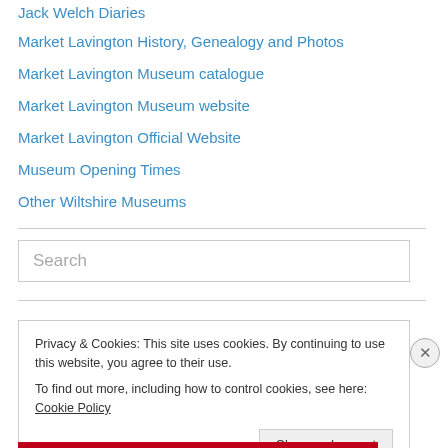Jack Welch Diaries
Market Lavington History, Genealogy and Photos
Market Lavington Museum catalogue
Market Lavington Museum website
Market Lavington Official Website
Museum Opening Times
Other Wiltshire Museums
Search
Privacy & Cookies: This site uses cookies. By continuing to use this website, you agree to their use. To find out more, including how to control cookies, see here: Cookie Policy
Close and accept